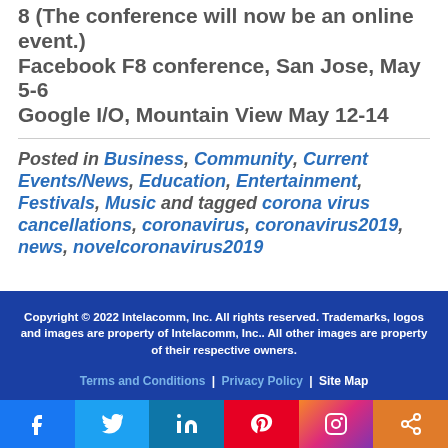8 (The conference will now be an online event.)
Facebook F8 conference, San Jose, May 5-6
Google I/O, Mountain View May 12-14
Posted in Business, Community, Current Events/News, Education, Entertainment, Festivals, Music and tagged corona virus cancellations, coronavirus, coronavirus2019, news, novelcoronavirus2019
Copyright © 2022 Intelacomm, Inc. All rights reserved. Trademarks, logos and images are property of Intelacomm, Inc.. All other images are property of their respective owners.
Terms and Conditions | Privacy Policy | Site Map